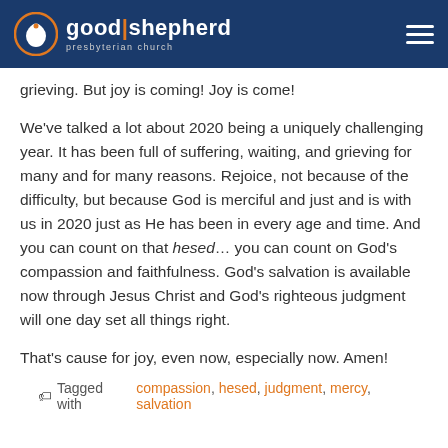Good Shepherd Presbyterian Church
grieving. But joy is coming! Joy is come!
We've talked a lot about 2020 being a uniquely challenging year. It has been full of suffering, waiting, and grieving for many and for many reasons. Rejoice, not because of the difficulty, but because God is merciful and just and is with us in 2020 just as He has been in every age and time. And you can count on that hesed… you can count on God's compassion and faithfulness. God's salvation is available now through Jesus Christ and God's righteous judgment will one day set all things right.
That's cause for joy, even now, especially now. Amen!
Tagged with compassion, hesed, judgment, mercy, salvation